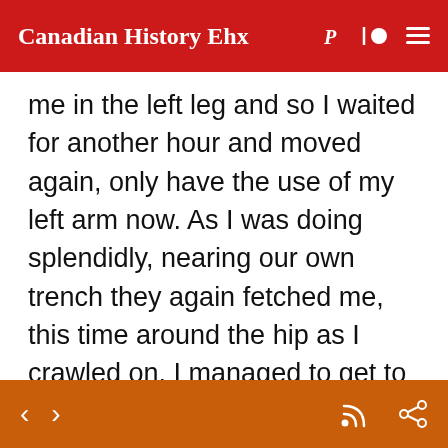Canadian History Ehx
me in the left leg and so I waited for another hour and moved again, only have the use of my left arm now. As I was doing splendidly, nearing our own trench they again fetched me, this time around the hip as I crawled on. I managed to get to our own line which I saw was evacuated as our artillery was playing heavily on their trenches. They retaliated and kept me in a hole for another
[Figure (screenshot): Audio player bar with -15s, play button, +15s, progress bar showing 00:00, and 1x speed control on black background]
[Figure (screenshot): Bottom navigation bar in orange/red with back and forward arrows on left and RSS and share icons on right]